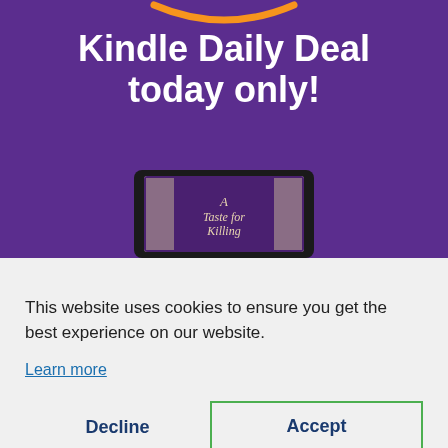[Figure (screenshot): Amazon Kindle Daily Deal promotional banner with purple background, Amazon smile logo in orange, bold white text reading 'Kindle Daily Deal today only!', and a Kindle device displaying book cover 'A Taste for Killing']
This website uses cookies to ensure you get the best experience on our website.
Learn more
Decline
Accept